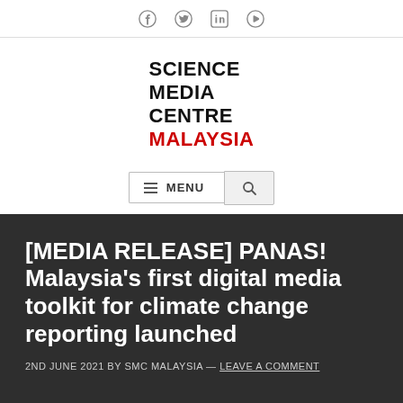Social media icons: Facebook, Twitter, LinkedIn, YouTube
[Figure (logo): Science Media Centre Malaysia logo — bold text stacked: SCIENCE MEDIA CENTRE in black, MALAYSIA in red]
[Figure (screenshot): Navigation menu bar with hamburger icon, MENU text, and search icon]
[MEDIA RELEASE] PANAS! Malaysia's first digital media toolkit for climate change reporting launched
2ND JUNE 2021 BY SMC MALAYSIA — LEAVE A COMMENT